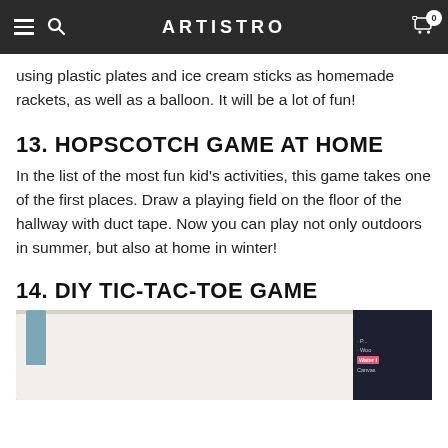ARTISTRO
using plastic plates and ice cream sticks as homemade rackets, as well as a balloon. It will be a lot of fun!
13. HOPSCOTCH GAME AT HOME
In the list of the most fun kid's activities, this game takes one of the first places. Draw a playing field on the floor of the hallway with duct tape. Now you can play not only outdoors in summer, but also at home in winter!
14. DIY TIC-TAC-TOE GAME
[Figure (photo): Photo showing a white fabric bag with a blue-gray strap and a dark art supply package on the right side with pink and white label text]